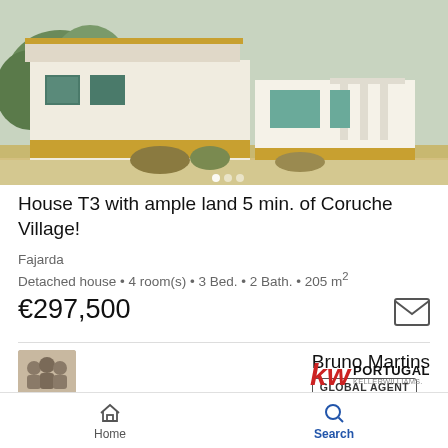[Figure (photo): Exterior photo of a white single-story house with yellow trim, green windows, and a tiled roof surrounded by dry landscaping. Carousel dots visible at the bottom.]
House T3 with ample land 5 min. of Coruche Village!
Fajarda
Detached house • 4 room(s) • 3 Bed. • 2 Bath. • 205 m²
€297,500
Bruno Martins
GLOBAL AGENT
[Figure (photo): Two side-by-side exterior photos of a Portuguese house showing terracotta tiled roofs and white-washed walls with yellow trim.]
Home   Search